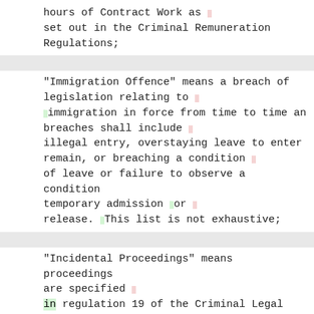hours of Contract Work as – set out in the Criminal Remuneration Regulations;
"Immigration Offence" means a breach of legislation relating to – immigration in force from time to time an breaches shall include – illegal entry, overstaying leave to enter remain, or breaching a condition – of leave or failure to observe a condition temporary admission or – release. This list is not exhaustive;
"Incidental Proceedings" means proceedings are specified – in regulation 19 of the Criminal Legal Aid (General) Regulations 2013;– in